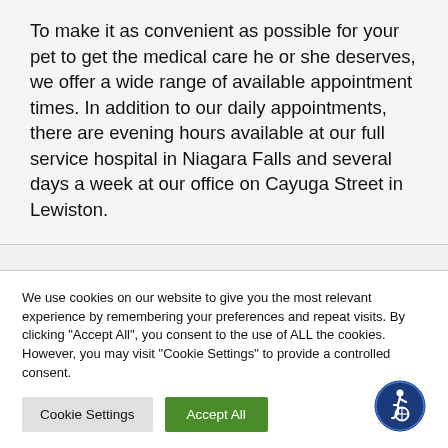To make it as convenient as possible for your pet to get the medical care he or she deserves, we offer a wide range of available appointment times. In addition to our daily appointments, there are evening hours available at our full service hospital in Niagara Falls and several days a week at our office on Cayuga Street in Lewiston.
We use cookies on our website to give you the most relevant experience by remembering your preferences and repeat visits. By clicking "Accept All", you consent to the use of ALL the cookies. However, you may visit "Cookie Settings" to provide a controlled consent.